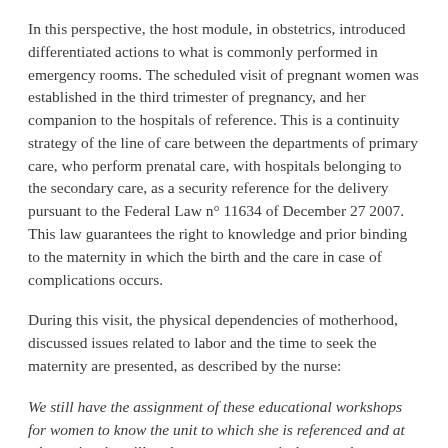In this perspective, the host module, in obstetrics, introduced differentiated actions to what is commonly performed in emergency rooms. The scheduled visit of pregnant women was established in the third trimester of pregnancy, and her companion to the hospitals of reference. This is a continuity strategy of the line of care between the departments of primary care, who perform prenatal care, with hospitals belonging to the secondary care, as a security reference for the delivery pursuant to the Federal Law n° 11634 of December 27 2007. This law guarantees the right to knowledge and prior binding to the maternity in which the birth and the care in case of complications occurs.
During this visit, the physical dependencies of motherhood, discussed issues related to labor and the time to seek the maternity are presented, as described by the nurse:
We still have the assignment of these educational workshops for women to know the unit to which she is referenced and at what point she will seek emergency precisely to not be a stranger. So we try to put into the educational workshops the main situations of complaint that they may have, we focus not only on the issue of labor signs, as the